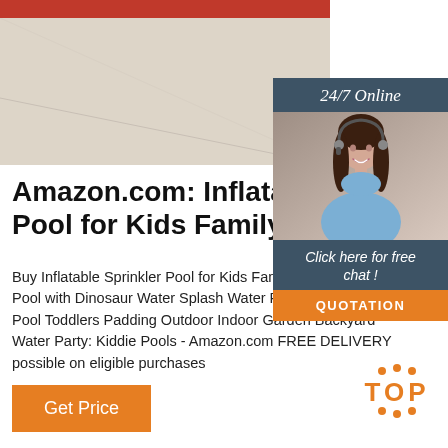[Figure (photo): Top portion showing a light beige/cream floor area with a red bar at the top, partial product image]
[Figure (photo): Customer service widget with dark teal header '24/7 Online', photo of a woman with headset smiling, chat button 'Click here for free chat!', and orange QUOTATION button]
Amazon.com: Inflatable S Pool for Kids Family, 62 ...
Buy Inflatable Sprinkler Pool for Kids Family, 16.5' Kiddie Pool with Dinosaur Water Splash Water Park Swimming Pool Toddlers Padding Outdoor Indoor Garden Backyard Water Party: Kiddie Pools - Amazon.com FREE DELIVERY possible on eligible purchases
[Figure (other): TOP badge with orange dots above and below the word TOP in orange bold letters]
Get Price